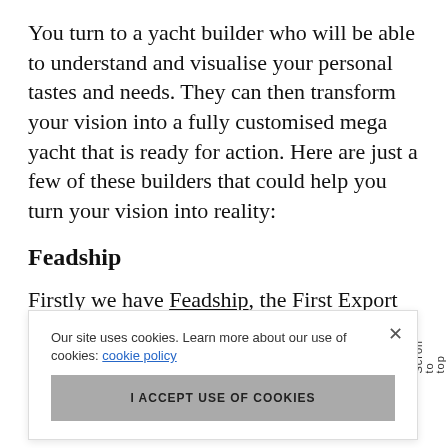You turn to a yacht builder who will be able to understand and visualise your personal tastes and needs. They can then transform your vision into a fully customised mega yacht that is ready for action. Here are just a few of these builders that could help you turn your vision into reality:
Feadship
Firstly we have Feadship, the First Export Association of Dutch Shipbuilders. This elite [cookie banner obscures] uce your mega design and t fits with the high standard of luxury expected from the
Our site uses cookies. Learn more about our use of cookies: cookie policy
I ACCEPT USE OF COOKIES